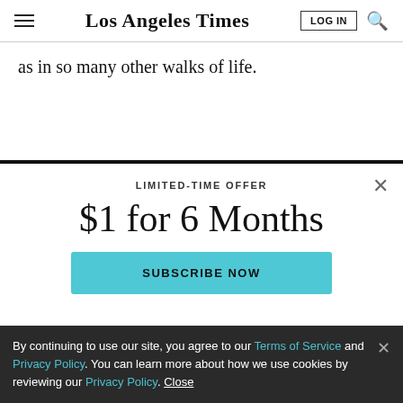Los Angeles Times
as in so many other walks of life.
LIMITED-TIME OFFER
$1 for 6 Months
SUBSCRIBE NOW
By continuing to use our site, you agree to our Terms of Service and Privacy Policy. You can learn more about how we use cookies by reviewing our Privacy Policy. Close